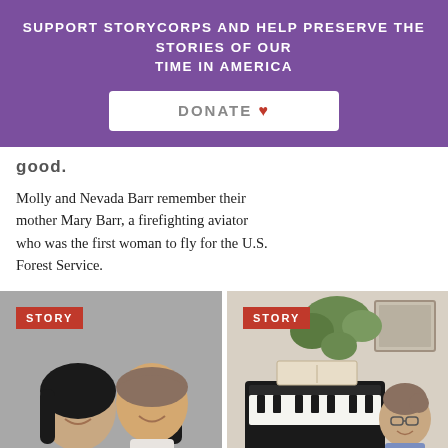SUPPORT STORYCORPS AND HELP PRESERVE THE STORIES OF OUR TIME IN AMERICA
DONATE ♥
GOOD.
Molly and Nevada Barr remember their mother Mary Barr, a firefighting aviator who was the first woman to fly for the U.S. Forest Service.
[Figure (photo): Two people smiling, a woman with dark hair and a man in a light shirt, with a red STORY badge overlay]
[Figure (photo): A woman standing next to a grand piano with sheet music, indoors, with a red STORY badge overlay]